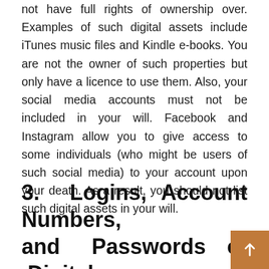not have full rights of ownership over. Examples of such digital assets include iTunes music files and Kindle e-books. You are not the owner of such properties but only have a licence to use them. Also, your social media accounts must not be included in your will. Facebook and Instagram allow you to give access to some individuals (who might be users of such social media) to your account upon your death. As a result, you should not list such digital assets in your will.
3.  Logins, Account Numbers, and  Passwords  of  Digital Assets